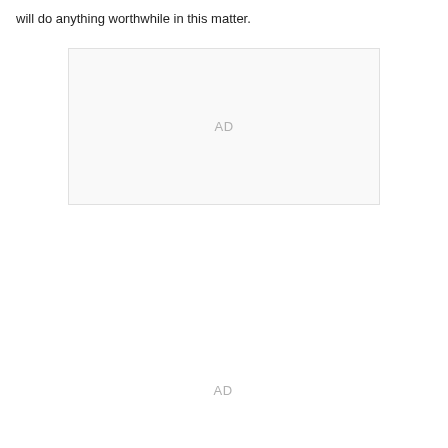will do anything worthwhile in this matter.
[Figure (other): Advertisement placeholder box 1 with 'AD' label]
[Figure (other): Advertisement placeholder 2 with 'AD' label]